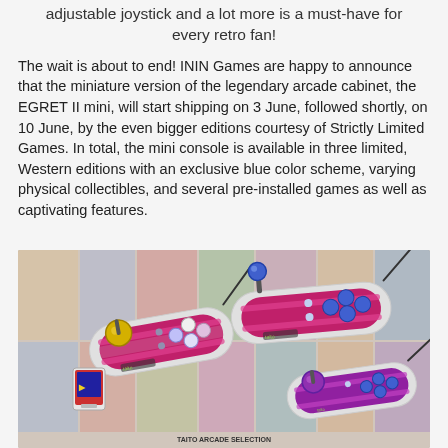adjustable joystick and a lot more is a must-have for every retro fan!
The wait is about to end! ININ Games are happy to announce that the miniature version of the legendary arcade cabinet, the EGRET II mini, will start shipping on 3 June, followed shortly, on 10 June, by the even bigger editions courtesy of Strictly Limited Games. In total, the mini console is available in three limited, Western editions with an exclusive blue color scheme, varying physical collectibles, and several pre-installed games as well as captivating features.
[Figure (photo): Photo of EGRET II mini arcade controllers - three joystick controllers with purple/pink color scheme and a game cartridge, shown against a blurred arcade game box art background. Text at bottom reads TAITO ARCADE SELECTION.]